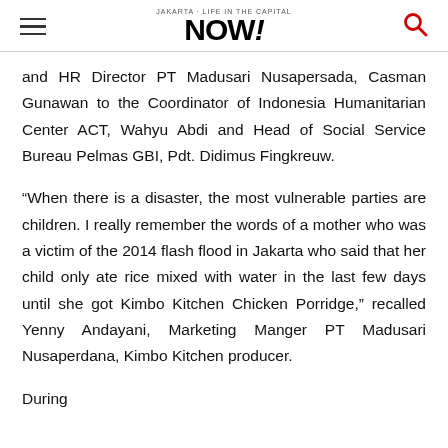Jakarta NOW!
and HR Director PT Madusari Nusapersada, Casman Gunawan to the Coordinator of Indonesia Humanitarian Center ACT, Wahyu Abdi and Head of Social Service Bureau Pelmas GBI, Pdt. Didimus Fingkreuw.
“When there is a disaster, the most vulnerable parties are children. I really remember the words of a mother who was a victim of the 2014 flash flood in Jakarta who said that her child only ate rice mixed with water in the last few days until she got Kimbo Kitchen Chicken Porridge,” recalled Yenny Andayani, Marketing Manger PT Madusari Nusaperdana, Kimbo Kitchen producer.
During...